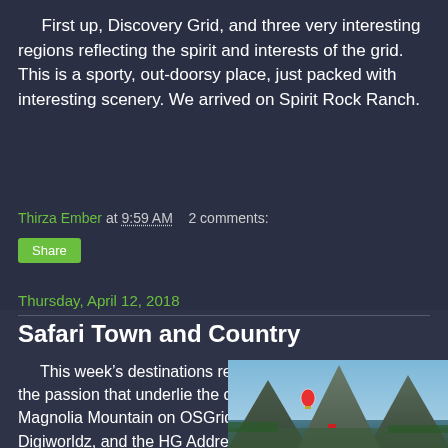First up, Discovery Grid, and three very interesting regions reflecting the spirit and interests of the grid. This is a sporty, out-doorsy place, just packed with interesting scenery. We arrived on Spirit Rock Ranch.
Thirza Ember at 9:59 AM   2 comments:
Share
Thursday, April 12, 2018
Safari Town and Country
This week’s destinations reflect the best of opensim, the passion that underlie the creative urge. We visited Magnolia Mountain on OSGrid, and Keng City on Digiworldz, and the HG Addresses are at the end of the post.
[Figure (photo): Landscape photo showing mountains and valley with a hot air balloon, in a virtual world environment]